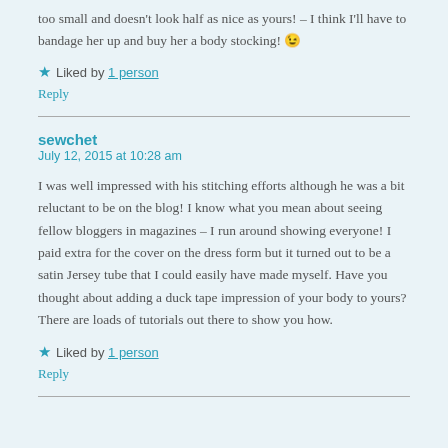too small and doesn't look half as nice as yours! – I think I'll have to bandage her up and buy her a body stocking! 😉
★ Liked by 1 person
Reply
sewchet
July 12, 2015 at 10:28 am
I was well impressed with his stitching efforts although he was a bit reluctant to be on the blog! I know what you mean about seeing fellow bloggers in magazines – I run around showing everyone! I paid extra for the cover on the dress form but it turned out to be a satin Jersey tube that I could easily have made myself. Have you thought about adding a duck tape impression of your body to yours? There are loads of tutorials out there to show you how.
★ Liked by 1 person
Reply